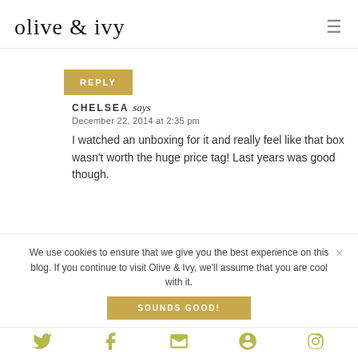olive & ivy
REPLY
CHELSEA says
December 22, 2014 at 2:35 pm

I watched an unboxing for it and really feel like that box wasn't worth the huge price tag! Last years was good though.
We use cookies to ensure that we give you the best experience on this blog. If you continue to visit Olive & Ivy, we'll assume that you are cool with it.
SOUNDS GOOD!